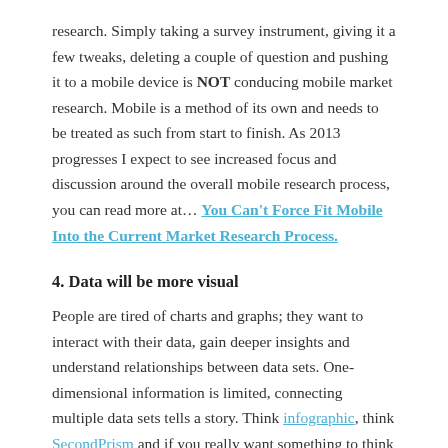research. Simply taking a survey instrument, giving it a few tweaks, deleting a couple of question and pushing it to a mobile device is NOT conducing mobile market research. Mobile is a method of its own and needs to be treated as such from start to finish. As 2013 progresses I expect to see increased focus and discussion around the overall mobile research process, you can read more at… You Can't Force Fit Mobile Into the Current Market Research Process.
4. Data will be more visual
People are tired of charts and graphs; they want to interact with their data, gain deeper insights and understand relationships between data sets. One-dimensional information is limited, connecting multiple data sets tells a story. Think infographic, think SecondPrism and if you really want something to think about check out… My Data Visualization Wish List.
5. There will be a new openness in the market research industry